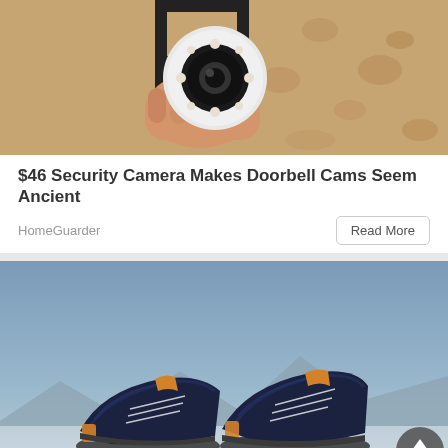[Figure (photo): A hand holding and installing a white round security camera with LED ring on a beige textured wall, mounted on a black bracket]
$46 Security Camera Makes Doorbell Cams Seem Ancient
HomeGuarder
[Figure (photo): A pair of navy blue and orange knit sneakers displayed against a light blue/grey sky background with distant mountains]